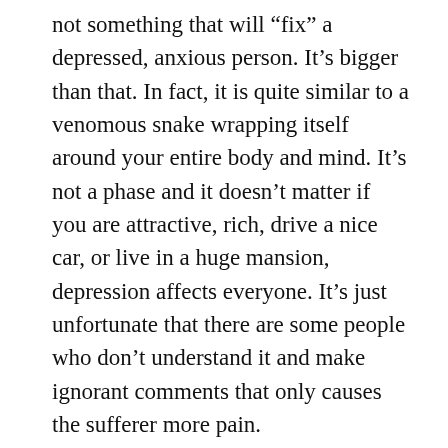not something that will “fix” a depressed, anxious person. It’s bigger than that. In fact, it is quite similar to a venomous snake wrapping itself around your entire body and mind. It’s not a phase and it doesn’t matter if you are attractive, rich, drive a nice car, or live in a huge mansion, depression affects everyone. It’s just unfortunate that there are some people who don’t understand it and make ignorant comments that only causes the sufferer more pain.
Trying to rationalize a person’s thoughts or behaviors is not helpful. Making a statement such as, “If you’re going to live